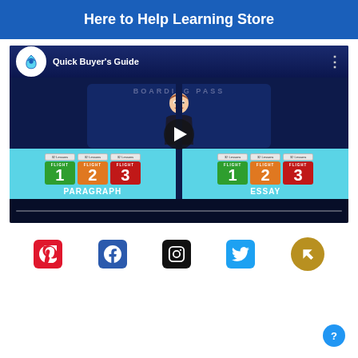Here to Help Learning Store
[Figure (screenshot): Video thumbnail showing Quick Buyer's Guide for Here to Help Learning Store, featuring Flight 1, 2, 3 course cards for Paragraph and Essay writing programs, with a play button in the center.]
[Figure (infographic): Row of social media icons: Pinterest (red), Facebook (blue), Instagram (black), Twitter (light blue), and a gold circular icon with arrow.]